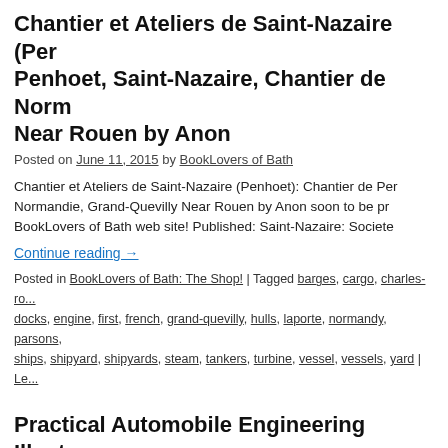Chantier et Ateliers de Saint-Nazaire (Penhoet), Saint-Nazaire, Chantier de Normandie Near Rouen by Anon
Posted on June 11, 2015 by BookLovers of Bath
Chantier et Ateliers de Saint-Nazaire (Penhoet): Chantier de Penhoet, Normandie, Grand-Quevilly Near Rouen by Anon soon to be pr... BookLovers of Bath web site! Published: Saint-Nazaire: Societe...
Continue reading →
Posted in BookLovers of Bath: The Shop! | Tagged barges, cargo, charles-ro..., docks, engine, first, french, grand-quevilly, hulls, laporte, normandy, parsons, ships, shipyard, shipyards, steam, tankers, turbine, vessel, vessels, yard | Le...
Practical Automobile Engineering Illustrated
Posted on November 4, 2013 by BookLovers of Bath
Practical Automobile Engineering Illustrated by Staton Abbey m... BookLovers of Bath web site!Odhams Books Limited, 1967, Ha... 6th printing [First Published: 1945] Illustrated by way of: Black...